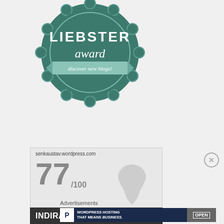[Figure (logo): Liebster Award badge — dark teal gear/stamp shape with white text 'LIEBSTER award discover new blogs!']
[Figure (infographic): IndiRank widget showing senkaustav.wordpress.com scored 77/100 with India map silhouette. Bottom bar shows INDIRANK star logo, indiblogger.in, SCORING OF INDIAN BLOGS]
Advertisements
[Figure (screenshot): WordPress hosting advertisement banner: 'P' logo, 'WORDPRESS HOSTING THAT MEANS BUSINESS.' and an OPEN sign photo on dark blue background]